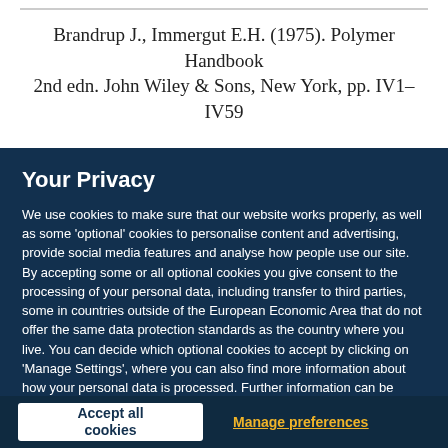Brandrup J., Immergut E.H. (1975). Polymer Handbook 2nd edn. John Wiley & Sons, New York, pp. IV1–IV59
Your Privacy
We use cookies to make sure that our website works properly, as well as some 'optional' cookies to personalise content and advertising, provide social media features and analyse how people use our site. By accepting some or all optional cookies you give consent to the processing of your personal data, including transfer to third parties, some in countries outside of the European Economic Area that do not offer the same data protection standards as the country where you live. You can decide which optional cookies to accept by clicking on 'Manage Settings', where you can also find more information about how your personal data is processed. Further information can be found in our privacy policy.
Accept all cookies
Manage preferences